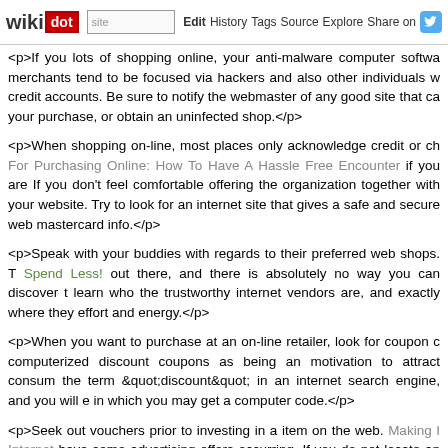wikidot | site Edit History Tags Source Explore Share on [twitter]
<p>If you lots of shopping online, your anti-malware computer softwa... merchants tend to be focused via hackers and also other individuals w... credit accounts. Be sure to notify the webmaster of any good site that ca... your purchase, or obtain an uninfected shop.</p>
<p>When shopping on-line, most places only acknowledge credit or ch... For Purchasing Online: How To Have A Hassle Free Encounter if you are... If you don't feel comfortable offering the organization together with your... website. Try to look for an internet site that gives a safe and secure we... mastercard info.</p>
<p>Speak with your buddies with regards to their preferred web shops. T... Spend Less! out there, and there is absolutely no way you can discover t... learn who the trustworthy internet vendors are, and exactly where they... effort and energy.</p>
<p>When you want to purchase at an on-line retailer, look for coupon c... computerized discount coupons as being an motivation to attract consum... the term &quot;discount&quot; in an internet search engine, and you will e... in which you may get a computer code.</p>
<p>Seek out vouchers prior to investing in a item on the web. Making I... Internet have some advertising offers occurring. If you do not locate an... from the web shop, seem on other web sites. Customers at times discus... or couponning blogs.</p>
<p>Keep your personal computer shielded. When you are performing a... site you might be not really acquainted with, ensure your laptop or comp... be necessary to stop your personal computer from becoming contamina...